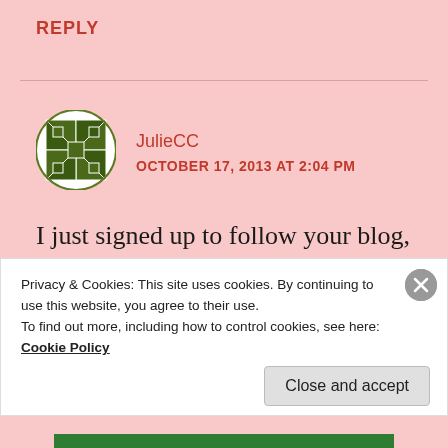REPLY
[Figure (illustration): Circular avatar with a dark olive green quilt-pattern / pinwheel geometric logo design on a white background]
JulieCC
OCTOBER 17, 2013 AT 2:04 PM
I just signed up to follow your blog, which I did not know was here until I saw your recent Instagram post. 🙂
Privacy & Cookies: This site uses cookies. By continuing to use this website, you agree to their use.
To find out more, including how to control cookies, see here:
Cookie Policy
Close and accept